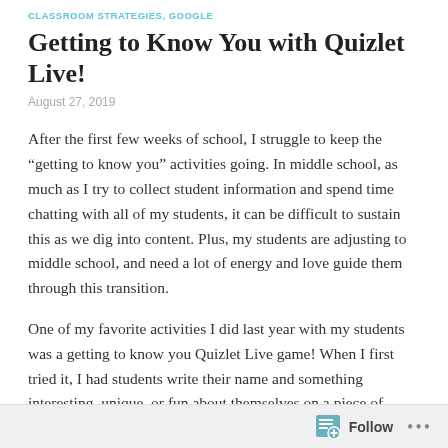CLASSROOM STRATEGIES, GOOGLE
Getting to Know You with Quizlet Live!
August 27, 2019
After the first few weeks of school, I struggle to keep the “getting to know you” activities going. In middle school, as much as I try to collect student information and spend time chatting with all of my students, it can be difficult to sustain this as we dig into content. Plus, my students are adjusting to middle school, and need a lot of energy and love guide them through this transition.
One of my favorite activities I did last year with my students was a getting to know you Quizlet Live game! When I first tried it, I had students write their name and something interesting, unique, or fun about themselves on a piece of
Follow ...